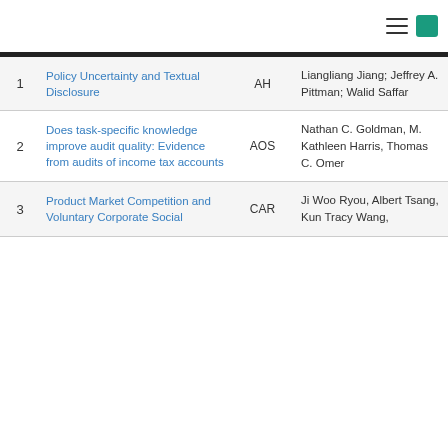| # | Title | Journal | Authors |  |
| --- | --- | --- | --- | --- |
| 1 | Policy Uncertainty and Textual Disclosure | AH | Liangliang Jiang; Jeffrey A. Pittman; Walid Saffar |  |
| 2 | Does task-specific knowledge improve audit quality: Evidence from audits of income tax accounts | AOS | Nathan C. Goldman, M. Kathleen Harris, Thomas C. Omer |  |
| 3 | Product Market Competition and Voluntary Corporate Social... | CAR | Ji Woo Ryou, Albert Tsang, Kun Tracy Wang, |  |